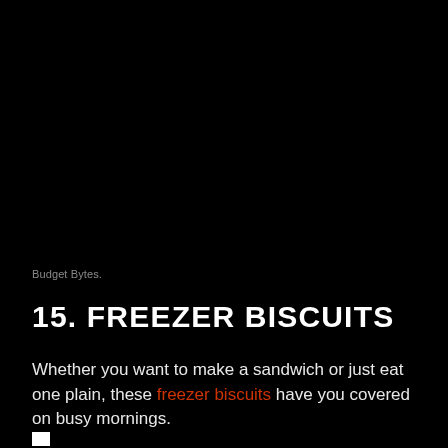Budget Bytes.
15. FREEZER BISCUITS
Whether you want to make a sandwich or just eat one plain, these freezer biscuits have you covered on busy mornings.